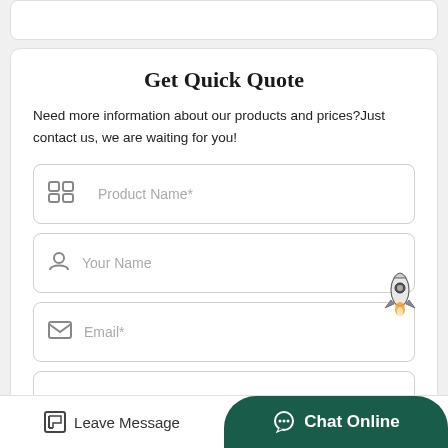Get Quick Quote
Need more information about our products and prices?Just contact us, we are waiting for you!
Product Name*
Your Name
Email*
Leave Message  Chat Online